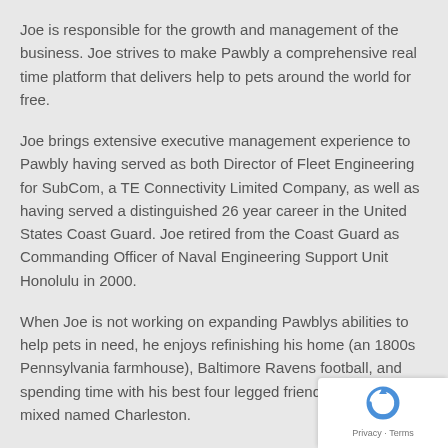Joe is responsible for the growth and management of the business. Joe strives to make Pawbly a comprehensive real time platform that delivers help to pets around the world for free.
Joe brings extensive executive management experience to Pawbly having served as both Director of Fleet Engineering for SubCom, a TE Connectivity Limited Company, as well as having served a distinguished 26 year career in the United States Coast Guard. Joe retired from the Coast Guard as Commanding Officer of Naval Engineering Support Unit Honolulu in 2000.
When Joe is not working on expanding Pawblys abilities to help pets in need, he enjoys refinishing his home (an 1800s Pennsylvania farmhouse), Baltimore Ravens football, and spending time with his best four legged friend ... a pit bull mixed named Charleston.
[Figure (logo): Google reCAPTCHA badge with Privacy and Terms links]